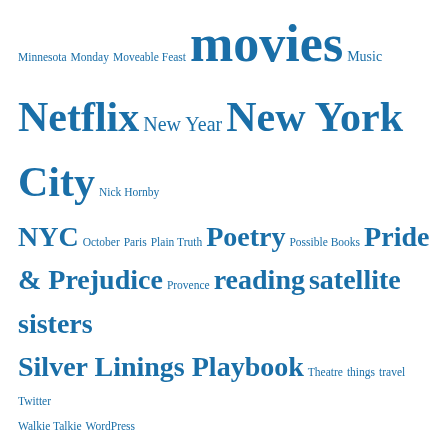Minnesota Monday Moveable Feast movies Music Netflix New Year New York City Nick Hornby NYC October Paris Plain Truth Poetry Possible Books Pride & Prejudice Provence reading satellite sisters Silver Linings Playbook Theatre things travel Twitter Walkie Talkie WordPress
SINCE 2010
January 2022 (2)
April 2021 (1)
December 2020 (3)
May 2020 (1)
March 2020 (2)
February 2020 (4)
January 2020 (3)
April 2019 (1)
February 2019 (2)
January 2019 (2)
December 2018 (1)